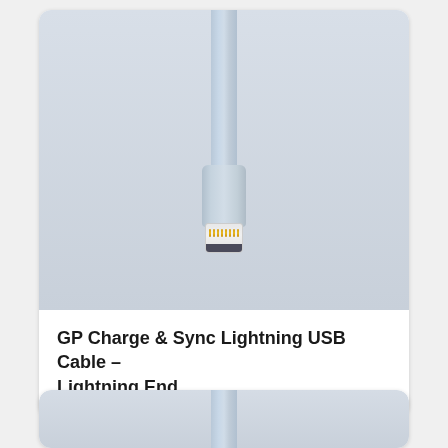[Figure (photo): Close-up photograph of the Lightning end of a GP Charge & Sync Lightning USB Cable. A pale blue/grey Lightning connector is shown against a light grey-white background. The cable runs from the top of the frame down to the connector housing, with the small metal Lightning plug tip visible at the bottom of the connector.]
GP Charge & Sync Lightning USB Cable – Lightning End
[Figure (photo): Partial view of a second photograph showing the top portion of another cable against a similar light grey background, cropped at the bottom of the page.]